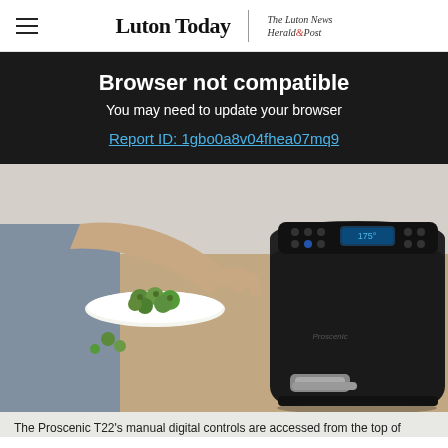Luton Today | The Luton News Herald & Post
Browser not compatible
You may need to update your browser
Report ID: 1gbo0a8v04fhea07mq9
[Figure (photo): Person pressing the digital control panel on top of a black Proscenic T22 air fryer, with a plate of Brussels sprouts visible in the background on a wooden surface.]
The Proscenic T22's manual digital controls are accessed from the top of